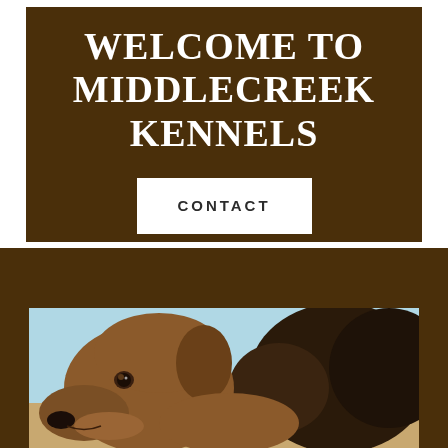WELCOME TO MIDDLECREEK KENNELS
CONTACT
[Figure (photo): A chocolate Labrador Retriever dog looking to the left, photographed outdoors with a light blue sky and dark shrubs in the background.]